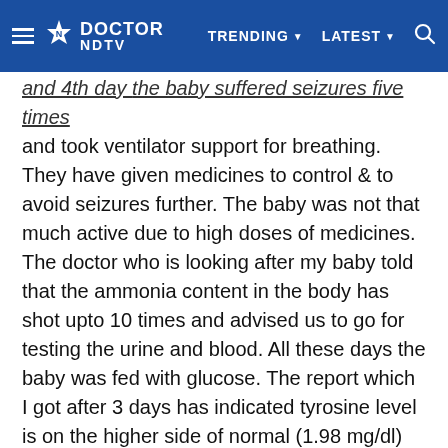Doctor NDTV — TRENDING ▼   LATEST ▼
and 4th day the baby suffered seizures five times and took ventilator support for breathing. They have given medicines to control & to avoid seizures further. The baby was not that much active due to high doses of medicines. The doctor who is looking after my baby told that the ammonia content in the body has shot upto 10 times and advised us to go for testing the urine and blood. All these days the baby was fed with glucose. The report which I got after 3 days has indicated tyrosine level is on the higher side of normal (1.98 mg/dl) and they do not suspected any in-born error of metabolism. But the doctor is saying that he is confident that baby is having tyrosinaemia as he told that the baby was fed with only glucose which does not have that much protein. The real increase of tyrosine may take place when baby is fed with mothers milk. The baby was breathing with the oxygen support for